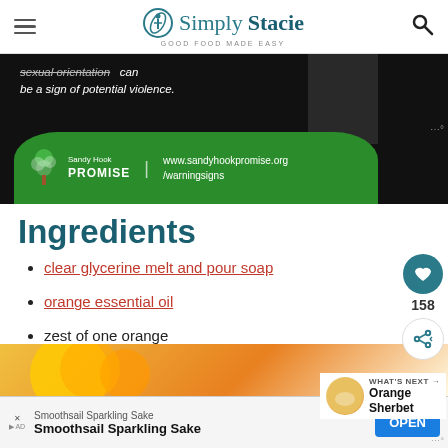Simply Stacie — Good Food Made Easy
[Figure (photo): Advertisement banner for Sandy Hook Promise featuring dark background with text 'sexual orientation can be a sign of potential violence.' and green wave section with Sandy Hook Promise logo and website www.sandyhookpromise.org/warningsigns]
Ingredients
clear glycerine melt and pour soap
orange essential oil
zest of one orange
[Figure (photo): Partial view of orange-colored food photo (Orange Sherbet)]
[Figure (photo): Bottom advertisement: Smoothsail Sparkling Sake with OPEN button]